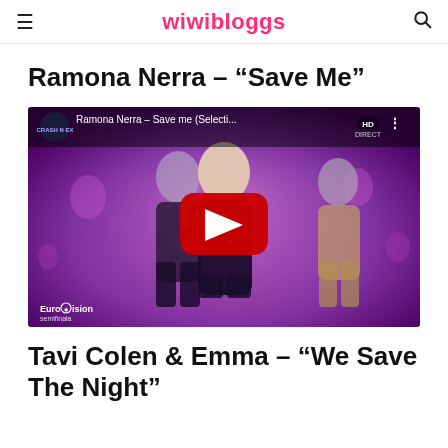wiwibloggs
Ramona Nerra – “Save Me”
[Figure (screenshot): YouTube video thumbnail showing Ramona Nerra performing Save me (Selecti... HD) at Eurovision semifinals, with two female dancers on a purple-lit stage and a red YouTube play button overlay]
Tavi Colen & Emma – “We Save The Night”